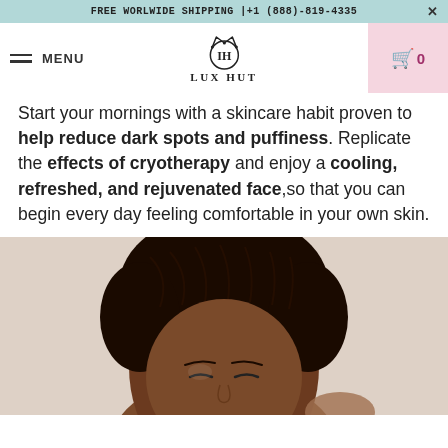FREE WORLWIDE SHIPPING |+1 (888)-819-4335
MENU
LUX HUT
Start your mornings with a skincare habit proven to help reduce dark spots and puffiness. Replicate the effects of cryotherapy and enjoy a cooling, refreshed, and rejuvenated face,so that you can begin every day feeling comfortable in your own skin.
[Figure (photo): Photo of a woman with braided hair, eyes closed, applying skincare product to her face]